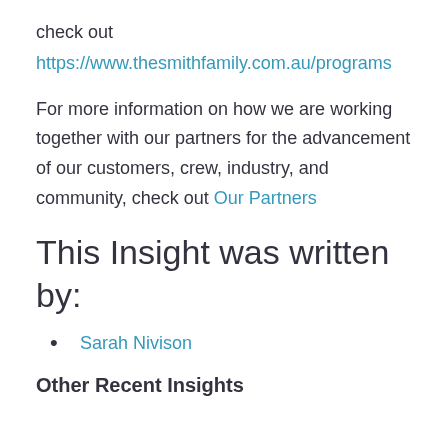check out
https://www.thesmithfamily.com.au/programs
For more information on how we are working together with our partners for the advancement of our customers, crew, industry, and community, check out Our Partners
This Insight was written by:
Sarah Nivison
Other Recent Insights